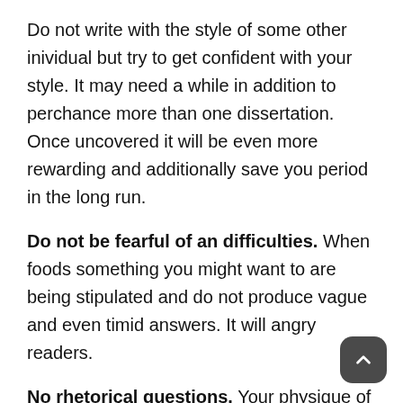Do not write with the style of some other inividual but try to get confident with your style. It may need a while in addition to perchance more than one dissertation. Once uncovered it will be even more rewarding and additionally save you period in the long run.
Do not be fearful of an difficulties. When foods something you might want to are being stipulated and do not produce vague and even timid answers. It will angry readers.
No rhetorical questions. Your physique of the reasons should bottom contain elements based on info and fair statements.